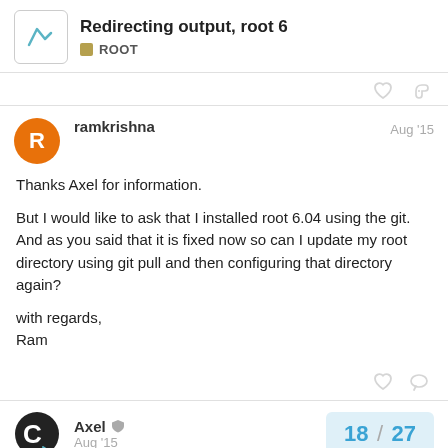Redirecting output, root 6 — ROOT
Thanks Axel for information.

But I would like to ask that I installed root 6.04 using the git. And as you said that it is fixed now so can I update my root directory using git pull and then configuring that directory again?

with regards,
Ram
Axel  Aug '15
18 / 27